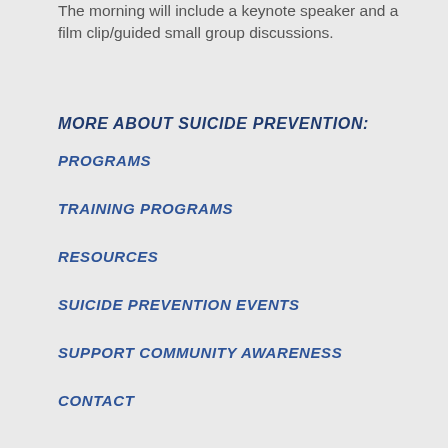The morning will include a keynote speaker and a film clip/guided small group discussions.
MORE ABOUT SUICIDE PREVENTION:
PROGRAMS
TRAINING PROGRAMS
RESOURCES
SUICIDE PREVENTION EVENTS
SUPPORT COMMUNITY AWARENESS
CONTACT